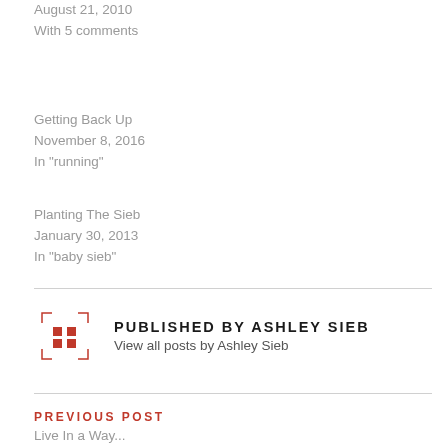August 21, 2010
With 5 comments
Getting Back Up
November 8, 2016
In "running"
Planting The Sieb
January 30, 2013
In "baby sieb"
PUBLISHED BY ASHLEY SIEB
View all posts by Ashley Sieb
PREVIOUS POST
Live In a Way...